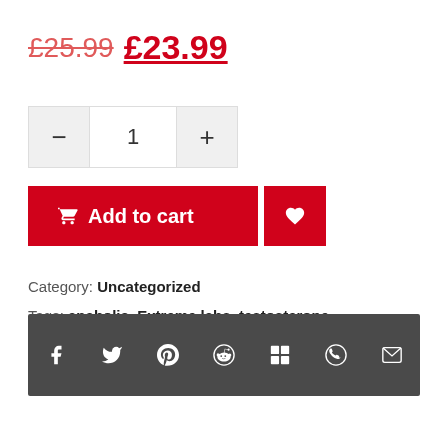£25.99 £23.99
[Figure (infographic): Quantity selector with minus button, quantity field showing 1, and plus button]
[Figure (infographic): Add to cart button with shopping cart icon and wishlist heart button, both red]
Category: Uncategorized
Tags: anabolic, Extreme labs, testosterone
[Figure (infographic): Dark grey social sharing bar with icons for Facebook, Twitter, Pinterest, Reddit, Delicious, WhatsApp, and Email]